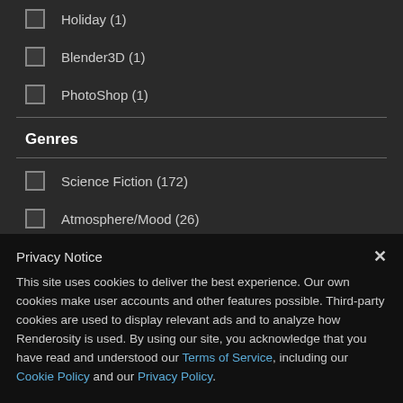Holiday (1)
Blender3D (1)
PhotoShop (1)
Genres
Science Fiction (172)
Atmosphere/Mood (26)
Surrealism (5)
Privacy Notice
This site uses cookies to deliver the best experience. Our own cookies make user accounts and other features possible. Third-party cookies are used to display relevant ads and to analyze how Renderosity is used. By using our site, you acknowledge that you have read and understood our Terms of Service, including our Cookie Policy and our Privacy Policy.